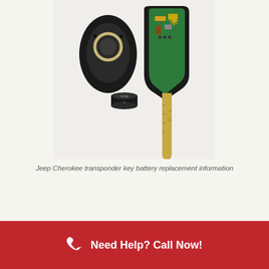[Figure (photo): Jeep Cherokee transponder key disassembled showing the black key fob shell opened, green circuit board with components, a CR2032 coin cell battery, and a car key blade with gold/brass color on a white background.]
Jeep Cherokee transponder key battery replacement information
Need Help? Call Now!